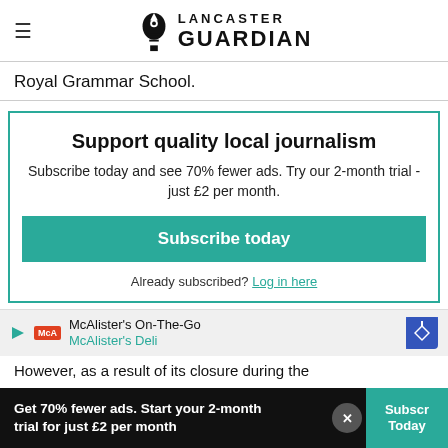Lancaster Guardian
Royal Grammar School.
Support quality local journalism
Subscribe today and see 70% fewer ads. Try our 2-month trial - just £2 per month.
Subscribe today
Already subscribed? Log in here
[Figure (infographic): McAlister's On-The-Go advertisement banner with McAlister's Deli text and navigation arrow icon]
However, as a result of its closure during the
Get 70% fewer ads. Start your 2-month trial for just £2 per month   Subscribe Today